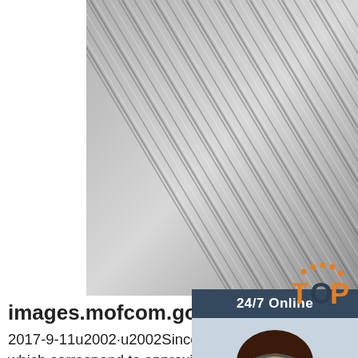[Figure (photo): Close-up photograph of bundled metal wires or rods, showing diagonal grey and silver striped pattern]
[Figure (photo): 24/7 Online chat widget showing a smiling female customer service agent wearing a headset, with a dark navy background, 'Click here for free chat!' text, and an orange QUOTATION button]
images.mofcom.gov.cn
2017-9-11u2002·u2002Since then, fast-t cases, which correspond to approximate all merger cases reviewed by CADE, are decided in up to 30 days, whereas ordinary cases are reviewed in an average of 60 days, and mergers, which are challenged or considered as complex, are analysed in an average of 200 days. ... railway concessionaires have shown greater ...